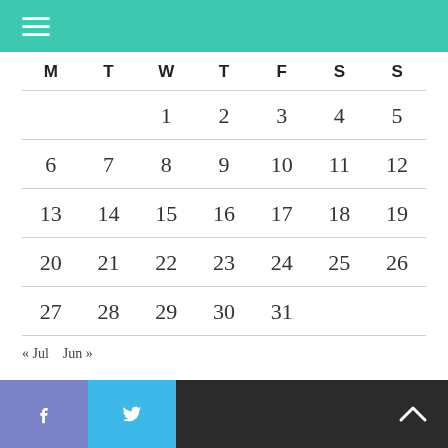| M | T | W | T | F | S | S |
| --- | --- | --- | --- | --- | --- | --- |
|  |  | 1 | 2 | 3 | 4 | 5 |
| 6 | 7 | 8 | 9 | 10 | 11 | 12 |
| 13 | 14 | 15 | 16 | 17 | 18 | 19 |
| 20 | 21 | 22 | 23 | 24 | 25 | 26 |
| 27 | 28 | 29 | 30 | 31 |  |  |
« Jul   Jun »